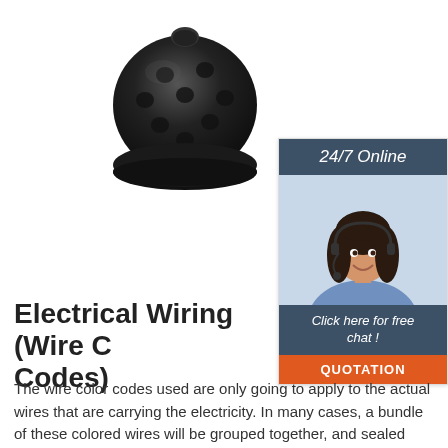[Figure (photo): Black rubber tow ball cover / cap with dimpled surface, photographed on white background]
[Figure (infographic): Sidebar advertisement: '24/7 Online' header in dark blue-grey, photo of smiling female customer service agent with headset, 'Click here for free chat!' text, orange QUOTATION button]
Electrical Wiring (Wire Color Codes)
The wire color codes used are only going to apply to the actual wires that are carrying the electricity. In many cases, a bundle of these colored wires will be grouped together, and sealed within a black or grey cable. This helps to protect people from accidental exposure, and